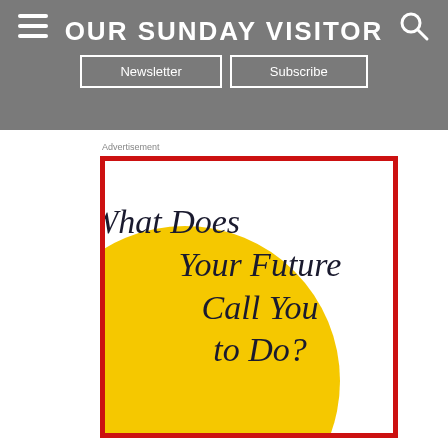OUR SUNDAY VISITOR
Newsletter
Subscribe
Advertisement
[Figure (illustration): Advertisement image with text 'What Does Your Future Call You to Do?' in italic script font, with a large yellow circle shape in the lower-left portion of the image, white background, red border.]